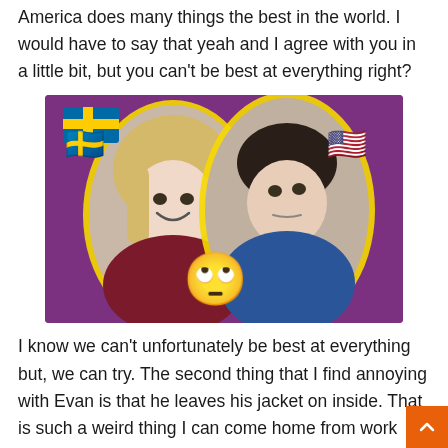America does many things the best in the world. I would have to say that yeah and I agree with you in a little bit, but you can't be best at everything right?
[Figure (photo): Two people (a blonde woman in red top and a man in blue shirt) posed together with Swedish flag emoji on left and US flag emoji on right, and a rolling eyes emoji overlaid in the center bottom. Purple background.]
I know we can't unfortunately be best at everything but, we can try. The second thing that I find annoying with Evan is that he leaves his jacket on inside. That is such a weird thing I can come home from work and he's sitting on the couch with his laptop, and he's wearing his jacket on, and I'm like "hello?" -It's cold -You're